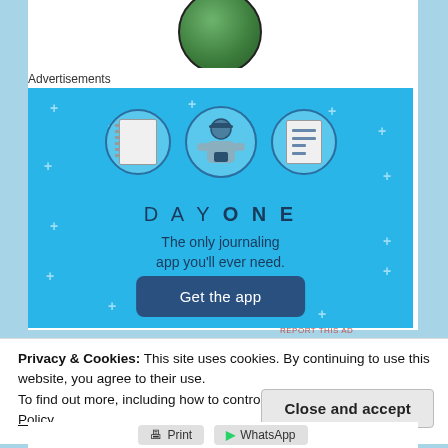[Figure (photo): Partial circular photo of trees/nature at top of page]
Advertisements
[Figure (illustration): Day One app advertisement on blue background. Shows a person holding a phone flanked by notebook icons. Text reads: DAY ONE - The only journaling app you'll ever need. Button: Get the app]
REPORT THIS AD
Privacy & Cookies: This site uses cookies. By continuing to use this website, you agree to their use.
To find out more, including how to control cookies, see here: Cookie Policy
Close and accept
Print   WhatsApp